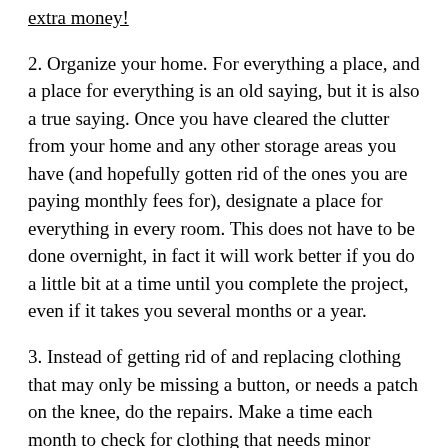extra money!
2. Organize your home. For everything a place, and a place for everything is an old saying, but it is also a true saying. Once you have cleared the clutter from your home and any other storage areas you have (and hopefully gotten rid of the ones you are paying monthly fees for), designate a place for everything in every room. This does not have to be done overnight, in fact it will work better if you do a little bit at a time until you complete the project, even if it takes you several months or a year.
3. Instead of getting rid of and replacing clothing that may only be missing a button, or needs a patch on the knee, do the repairs. Make a time each month to check for clothing that needs minor repairs and then do them. Now the money you might have spent purchasing something to replace these clothing